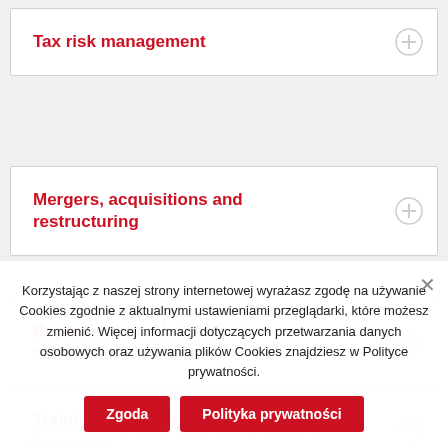Tax risk management
Mergers, acquisitions and restructuring
Representation before administrative courts
Training and workshops
Excise tax
Korzystając z naszej strony internetowej wyrażasz zgodę na używanie Cookies zgodnie z aktualnymi ustawieniami przeglądarki, które możesz zmienić. Więcej informacji dotyczących przetwarzania danych osobowych oraz używania plików Cookies znajdziesz w Polityce prywatności.
TRANSLERITATIONS